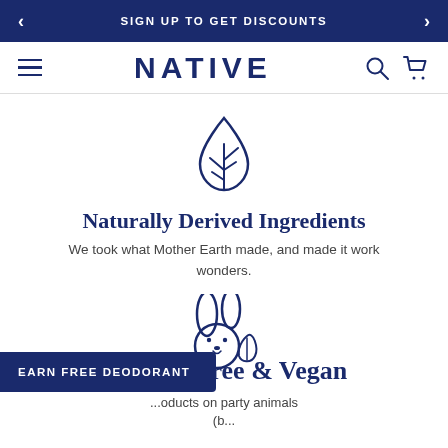SIGN UP TO GET DISCOUNTS
NATIVE
[Figure (illustration): Leaf or plant inside a teardrop/droplet outline icon, drawn in navy blue]
Naturally Derived Ingredients
We took what Mother Earth made, and made it work wonders.
[Figure (illustration): Cruelty-free rabbit face with a small leaf icon beside it, drawn in navy blue outline]
Cruelty-Free & Vegan
...oducts on party animals (b...
EARN FREE DEODORANT